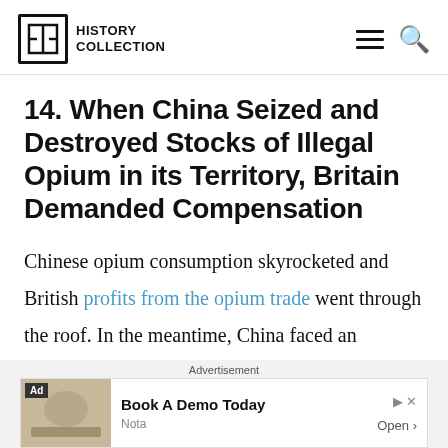HISTORY COLLECTION
14. When China Seized and Destroyed Stocks of Illegal Opium in its Territory, Britain Demanded Compensation
Chinese opium consumption skyrocketed and British profits from the opium trade went through the roof. In the meantime, China faced an addiction epidemic that caused widespread social and economic disruptions. The Chinese
[Figure (other): Advertisement banner: Book A Demo Today, Nota, Open]
Advertisement